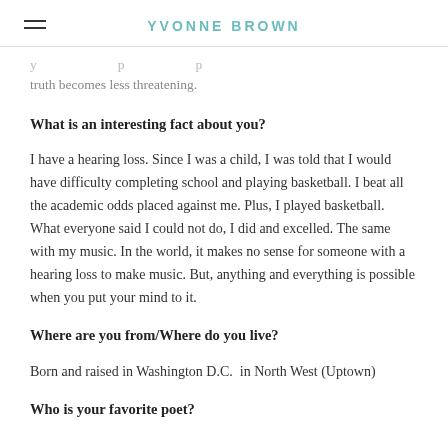YVONNE BROWN
truth becomes less threatening.
What is an interesting fact about you?
I have a hearing loss. Since I was a child, I was told that I would have difficulty completing school and playing basketball. I beat all the academic odds placed against me. Plus, I played basketball. What everyone said I could not do, I did and excelled. The same with my music. In the world, it makes no sense for someone with a hearing loss to make music. But, anything and everything is possible when you put your mind to it.
Where are you from/Where do you live?
Born and raised in Washington D.C.  in North West (Uptown)
Who is your favorite poet?